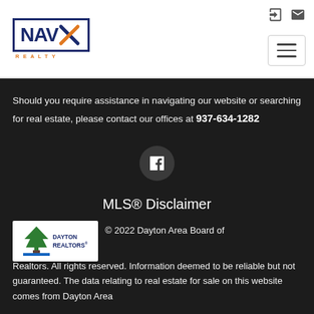[Figure (logo): NAV-X Realty logo with dark blue border, bold NAV text and orange X, with REALTY text below in orange spaced letters]
Should you require assistance in navigating our website or searching for real estate, please contact our offices at 937-634-1282
[Figure (logo): Facebook icon button - dark circular button with white f letter]
MLS® Disclaimer
[Figure (logo): Dayton Realtors logo - white background with tree icon and DAYTON REALTORS text]
© 2022 Dayton Area Board of Realtors. All rights reserved. Information deemed to be reliable but not guaranteed. The data relating to real estate for sale on this website comes from Dayton Area